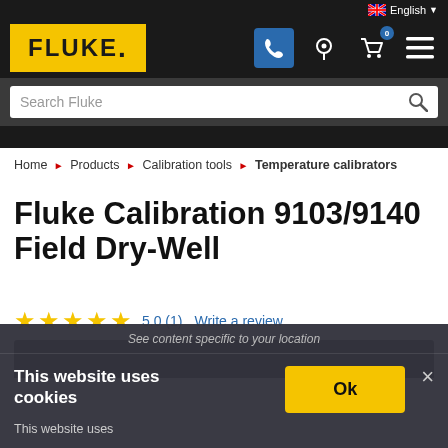[Figure (screenshot): Fluke website navigation bar with yellow Fluke logo on dark background, phone icon in blue box, location pin icon, cart icon with badge showing 0, hamburger menu icon, and English language selector with Australian flag]
Search Fluke
Home ▶ Products ▶ Calibration tools ▶ Temperature calibrators
Fluke Calibration 9103/9140 Field Dry-Well
★★★★★ 5.0 (1) Write a review
See content specific to your location
This website uses cookies
Ok
This website uses